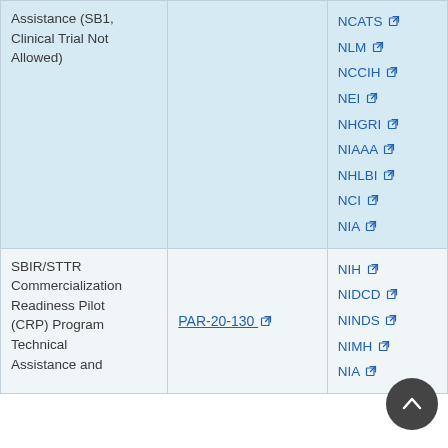| Program/Initiative | Funding Opportunity | Agencies |
| --- | --- | --- |
| Assistance (SB1, Clinical Trial Not Allowed) |  | NCATS
NLM
NCCIH
NEI
NHGRI
NIAAA
NHLBI
NCI
NIA |
| SBIR/STTR Commercialization Readiness Pilot (CRP) Program Technical Assistance and... | PAR-20-130 | NIH
NIDCD
NINDS
NIMH
NIA |